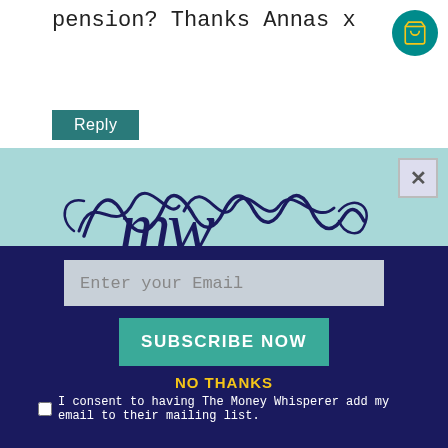pension? Thanks Annas x
Reply
[Figure (logo): MW cursive script logo in dark navy blue]
JOIN OUR NEWSLETTER
Sign up today for free to receive the latest blog chatter, tips & freebies to help you save and make money. Emails may, on occasion, contain affiliate and promotional links.
Enter your Email
SUBSCRIBE NOW
NO THANKS
I consent to having The Money Whisperer add my email to their mailing list.